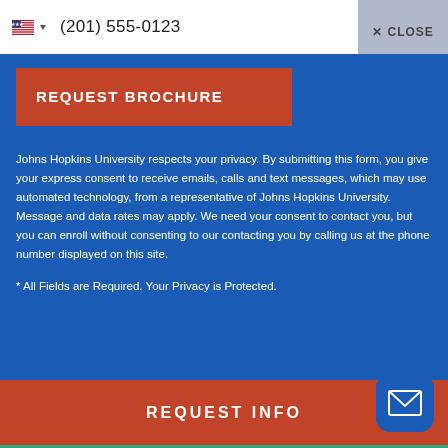(201) 555-0123
✕ CLOSE
REQUEST BROCHURE
Johns Hopkins University respects your privacy. By submitting this form, you give your express consent to receive emails, calls and text messages, which may use automated technology, from a representative of Johns Hopkins University. Message and data rates may apply. We need your consent to contact you, but you can enroll without consenting to our contacting you by calling us at the phone number displayed on this site.
* All Fields are Required. Your Privacy is Protected.
REQUEST INFO